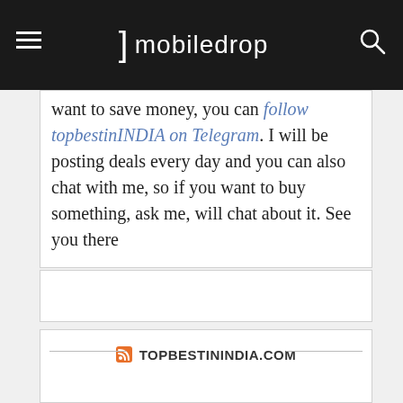mobiledrop
want to save money, you can follow topbestinINDIA on Telegram. I will be posting deals every day and you can also chat with me, so if you want to buy something, ask me, will chat about it. See you there
[Figure (other): Empty white box with border (likely an ad or image placeholder)]
[Figure (other): Widget box with RSS icon and title TOPBESTININDIA.COM with horizontal lines on each side]